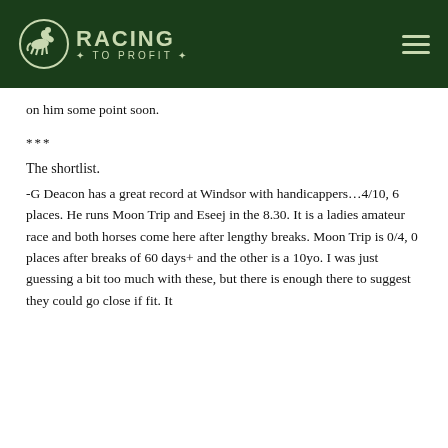RACING TO PROFIT
on him some point soon.
***
The shortlist.
-G Deacon has a great record at Windsor with handicappers…4/10, 6 places. He runs Moon Trip and Eseej in the 8.30. It is a ladies amateur race and both horses come here after lengthy breaks. Moon Trip is 0/4, 0 places after breaks of 60 days+ and the other is a 10yo. I was just guessing a bit too much with these, but there is enough there to suggest they could go close if fit. It